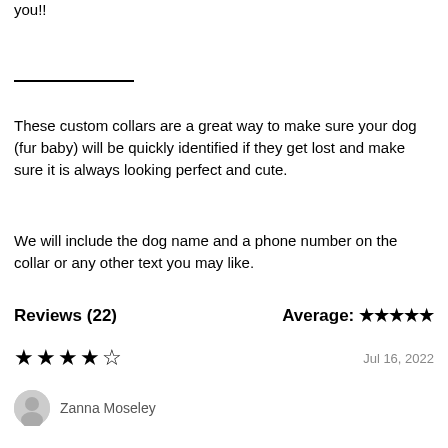you!!
These custom collars are a great way to make sure your dog (fur baby) will be quickly identified if they get lost and make sure it is always looking perfect and cute.
We will include the dog name and a phone number on the collar or any other text you may like.
Reviews (22)   Average: ★★★★★
★★★★☆   Jul 16, 2022
Zanna Moseley